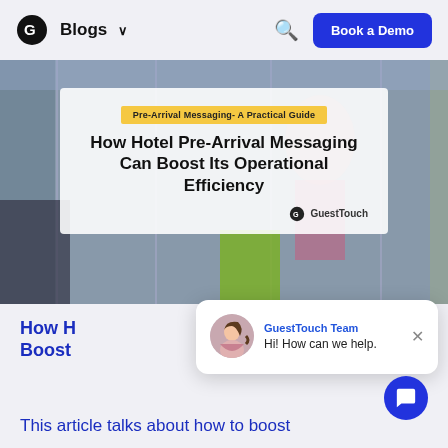GuestTouch Blogs — Book a Demo
[Figure (photo): Hero image of a woman with luggage at an airport/hotel entrance, with a semi-transparent white overlay box showing the blog article title and GuestTouch branding.]
Pre-Arrival Messaging- A Practical Guide
How Hotel Pre-Arrival Messaging Can Boost Its Operational Efficiency
How Ho Boost
GuestTouch Team
Hi! How can we help.
This article talks about how to boost